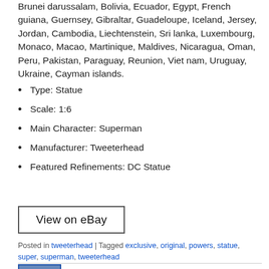Brunei darussalam, Bolivia, Ecuador, Egypt, French guiana, Guernsey, Gibraltar, Guadeloupe, Iceland, Jersey, Jordan, Cambodia, Liechtenstein, Sri lanka, Luxembourg, Monaco, Macao, Martinique, Maldives, Nicaragua, Oman, Peru, Pakistan, Paraguay, Reunion, Viet nam, Uruguay, Ukraine, Cayman islands.
Type: Statue
Scale: 1:6
Main Character: Superman
Manufacturer: Tweeterhead
Featured Refinements: DC Statue
[Figure (other): View on eBay button]
Posted in tweeterhead | Tagged exclusive, original, powers, statue, super, superman, tweeterhead
[Figure (photo): Thumbnail image of Superman statue]